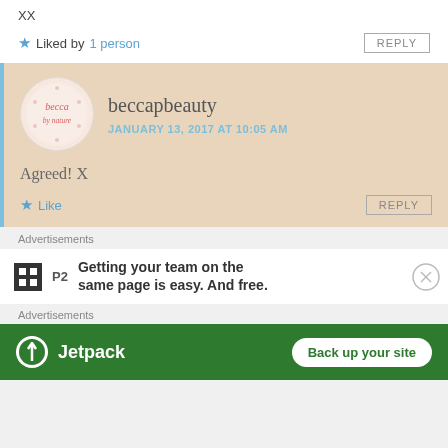XX
★ Liked by 1 person
REPLY
beccapbeauty
JANUARY 13, 2017 AT 10:05 AM
Agreed! X
★ Like
REPLY
Advertisements
[Figure (other): P2 advertisement banner: logo with grid icon and 'P2' text, ad text 'Getting your team on the same page is easy. And free.' with close button]
Advertisements
[Figure (other): Jetpack advertisement banner with green background, Jetpack logo, and 'Back up your site' button]